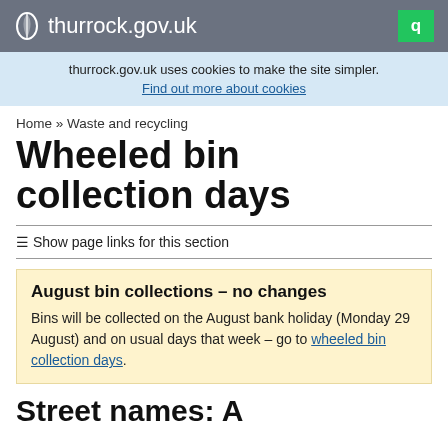thurrock.gov.uk
thurrock.gov.uk uses cookies to make the site simpler. Find out more about cookies
Home » Waste and recycling
Wheeled bin collection days
≡ Show page links for this section
August bin collections – no changes
Bins will be collected on the August bank holiday (Monday 29 August) and on usual days that week – go to wheeled bin collection days.
Street names: A